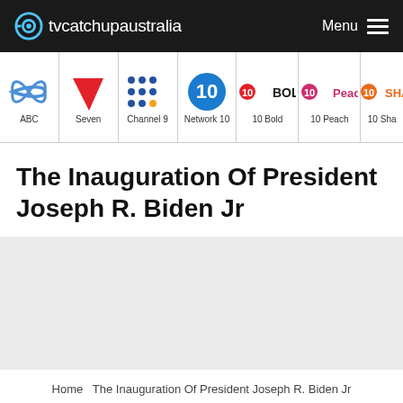tvcatchupaustralia  Menu
[Figure (other): Channel navigation bar showing logos and names: ABC, Seven, Channel 9, Network 10, 10 Bold, 10 Peach, 10 Sha(pe)]
The Inauguration Of President Joseph R. Biden Jr
[Figure (other): Gray placeholder content area]
Home  The Inauguration Of President Joseph R. Biden Jr